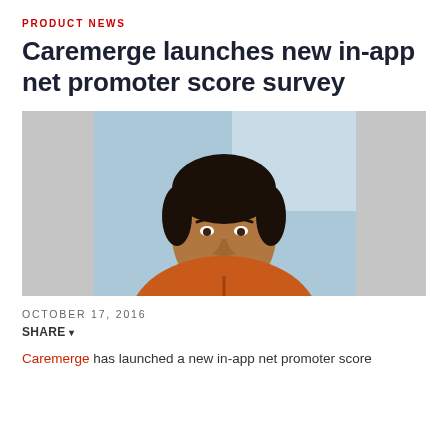PRODUCT NEWS
Caremerge launches new in-app net promoter score survey
[Figure (photo): Headshot of a smiling man with dark hair wearing an orange zip-up sweater over a collared shirt, with a blurred blue and grey background.]
OCTOBER 17, 2016
SHARE ▾
Caremerge has launched a new in-app net promoter score